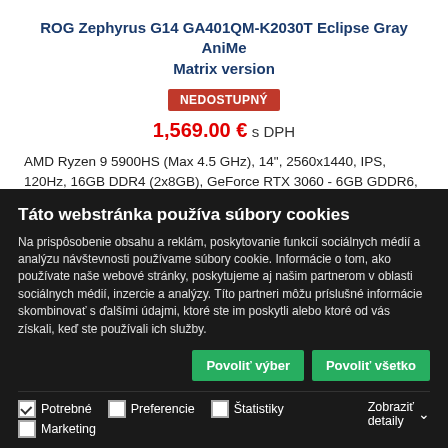ROG Zephyrus G14 GA401QM-K2030T Eclipse Gray AniMe Matrix version
NEDOSTUPNÝ
1,569.00 € s DPH
AMD Ryzen 9 5900HS (Max 4.5 GHz), 14", 2560x1440, IPS, 120Hz, 16GB DDR4 (2x8GB), GeForce RTX 3060 - 6GB GDDR6, 1TB SSD M.2, 802.11ax Wi-Fi 6 + Bluetooth 5.1, 4 článková / 76Whr, 1.7kg, Windows 10 Home
Táto webstránka používa súbory cookies
Na prispôsobenie obsahu a reklám, poskytovanie funkcií sociálnych médií a analýzu návštevnosti používame súbory cookie. Informácie o tom, ako používate naše webové stránky, poskytujeme aj našim partnerom v oblasti sociálnych médií, inzercie a analýzy. Títo partneri môžu príslušné informácie skombinovať s ďalšími údajmi, ktoré ste im poskytli alebo ktoré od vás získali, keď ste používali ich služby.
Povoliť výber
Povoliť všetko
Potrebné  Preferencie  Štatistiky  Marketing  Zobraziť detaily